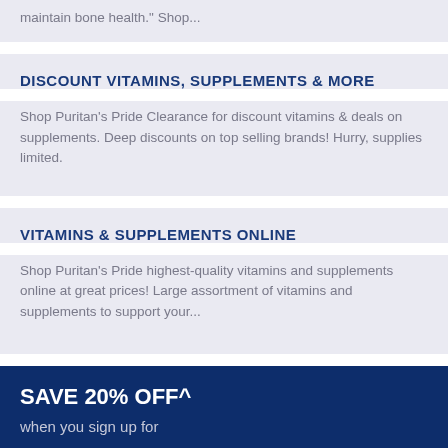maintain bone health." Shop...
DISCOUNT VITAMINS, SUPPLEMENTS & MORE
Shop Puritan's Pride Clearance for discount vitamins & deals on supplements. Deep discounts on top selling brands! Hurry, supplies limited.
VITAMINS & SUPPLEMENTS ONLINE
Shop Puritan's Pride highest-quality vitamins and supplements online at great prices! Large assortment of vitamins and supplements to support your...
SAVE 20% OFF^
when you sign up for